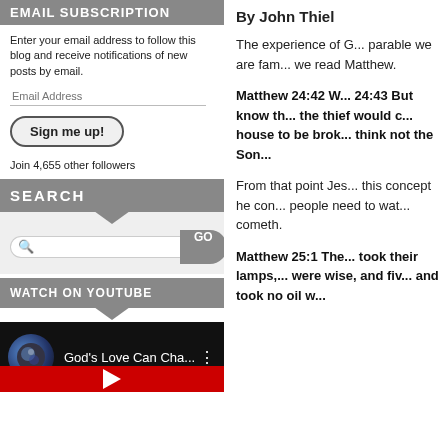EMAIL SUBSCRIPTION
Enter your email address to follow this blog and receive notifications of new posts by email.
Email Address
Sign me up!
Join 4,655 other followers
SEARCH
GO
WATCH ON YOUTUBE
[Figure (screenshot): YouTube video thumbnail showing 'God's Love Can Cha...' with a circular image and three-dot menu]
By John Thiel
The experience of G... parable we are fam... we read Matthew.
Matthew 24:42 W... 24:43 But know th... the thief would c... house to be brok... think not the Son...
From that point Jes... this concept he con... people need to wat... cometh.
Matthew 25:1 The... took their lamps,... were wise, and fiv... and took no oil w...